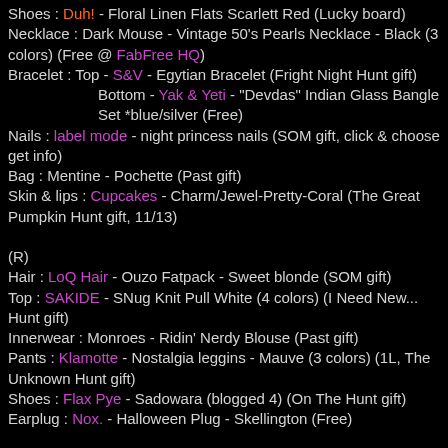Shoes : Duh! - Floral Linen Flats Scarlett Red (Lucky board)
Necklace : Dark Mouse - Vintage 50's Pearls Necklace - Black (3 colors) (Free @ FabFree HQ)
Bracelet : Top - S&V - Egytian Bracelet (Fright Night Hunt gift)
Bottom - Yak & Yeti - "Devdas" Indian Glass Bangle Set *blue/silver (Free)
Nails : label mode - night princess nails (SOM gift, click & choose get info)
Bag : Mentine - Pochette (Past gift)
Skin & lips : Cupcakes - Charm/Jewel-Pretty-Coral (The Great Pumpkin Hunt gift, 11/13)
(R)
Hair : LoQ Hair - Ouzo Fatpack - Sweet blonde (SOM gift)
Top : SAKIDE - SNug Knit Pull White (4 colors) (I Need New... Hunt gift)
Innerwear : Monroes - Ridin' Nerdy Blouse (Past gift)
Pants : Klamotte - Nostalgia leggins - Mauve (3 colors) (1L, The Unknown Hunt gift)
Shoes : Flax Pye - Sadowara (blogged 4) (On The Hunt gift)
Earplug : Nox. - Halloween Plug - Skellington (Free)